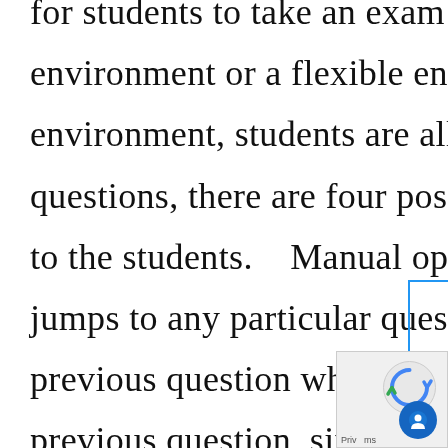for students to take an exam in either a strict environment or a flexible environment. With a flexible environment, students are allowed to navigate to any questions, there are four possible options are provided to the students.    Manual options are when a student jumps to any particular question, followed by the previous question where a student can navigate to the previous question, similarly the next question allows a student to navigate to the next question. Online Exam Software
[Figure (other): Blue bordered sidebar element with 'Book a demo' text written vertically]
[Figure (other): reCAPTCHA widget overlay in bottom right corner with circular logo]